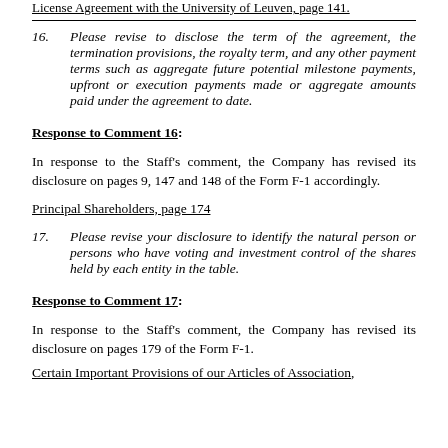License Agreement with the University of Leuven, page 141.
16.   Please revise to disclose the term of the agreement, the termination provisions, the royalty term, and any other payment terms such as aggregate future potential milestone payments, upfront or execution payments made or aggregate amounts paid under the agreement to date.
Response to Comment 16:
In response to the Staff's comment, the Company has revised its disclosure on pages 9, 147 and 148 of the Form F-1 accordingly.
Principal Shareholders, page 174
17.   Please revise your disclosure to identify the natural person or persons who have voting and investment control of the shares held by each entity in the table.
Response to Comment 17:
In response to the Staff's comment, the Company has revised its disclosure on pages 179 of the Form F-1.
Certain Important Provisions of our Articles of Association,